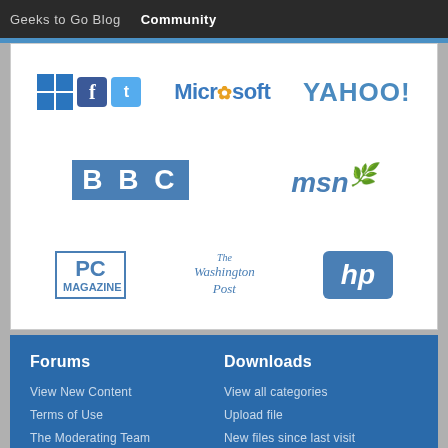Geeks to Go Blog  Community
[Figure (logo): Logo grid featuring Windows, Facebook, Twitter, Microsoft, Yahoo!, BBC, MSN, PC Magazine, The Washington Post, and HP logos on a white card background]
Forums
Downloads
View New Content
View all categories
Terms of Use
Upload file
The Moderating Team
New files since last visit
Highest Reputation
Files from past 7 days
Content
Help